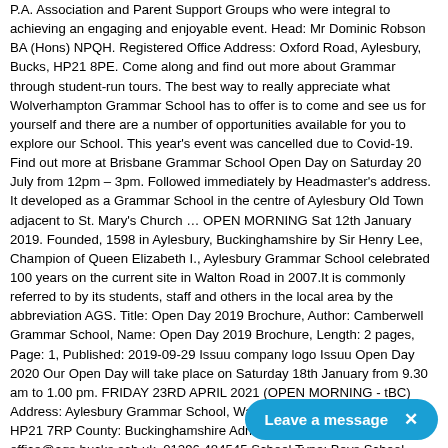P.A. Association and Parent Support Groups who were integral to achieving an engaging and enjoyable event. Head: Mr Dominic Robson BA (Hons) NPQH. Registered Office Address: Oxford Road, Aylesbury, Bucks, HP21 8PE. Come along and find out more about Grammar through student-run tours. The best way to really appreciate what Wolverhampton Grammar School has to offer is to come and see us for yourself and there are a number of opportunities available for you to explore our School. This year's event was cancelled due to Covid-19. Find out more at Brisbane Grammar School Open Day on Saturday 20 July from 12pm – 3pm. Followed immediately by Headmaster's address. It developed as a Grammar School in the centre of Aylesbury Old Town adjacent to St. Mary's Church … OPEN MORNING Sat 12th January 2019. Founded, 1598 in Aylesbury, Buckinghamshire by Sir Henry Lee, Champion of Queen Elizabeth I., Aylesbury Grammar School celebrated 100 years on the current site in Walton Road in 2007.It is commonly referred to by its students, staff and others in the local area by the abbreviation AGS. Title: Open Day 2019 Brochure, Author: Camberwell Grammar School, Name: Open Day 2019 Brochure, Length: 2 pages, Page: 1, Published: 2019-09-29 Issuu company logo Issuu Open Day 2020 Our Open Day will take place on Saturday 18th January from 9.30 am to 1.00 pm. FRIDAY 23RD APRIL 2021 (OPEN MORNING - tBC) Address: Aylesbury Grammar School, Walton Road, Aylesbury, Bucks, HP21 7RP County: Buckinghamshire Admissions Info: office@ags.bucks.sch.uk, 01296 484545 School Type: Boys School Number of pupils: 1,283 (approx.) Mr Atkinson's Update 30.11.20. The first of these, our virtual Year 7 Information Event, took place on Saturday 3 October.After a welcome from our Headmaster, Jaideep Barot, there was the opportunity to hear from some of our pupils and then sessions focusing on different areas of school life: A Day in the Life of Year 7; Wellbeing and Pastoral Care; Teaching and Learning; and Life beyond the Classroom. On Saturday we held our Open… was! It is therefore a privilege to welcome yo…